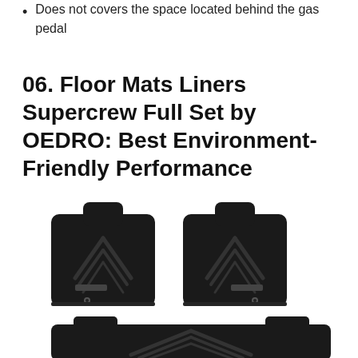Does not covers the space located behind the gas pedal
06. Floor Mats Liners Supercrew Full Set by OEDRO: Best Environment-Friendly Performance
[Figure (photo): Photo of three black rubber floor mats in a full set layout — two front mats (driver and passenger side) positioned on top, and a wide rear mat on the bottom, showing textured tread patterns and raised edges.]